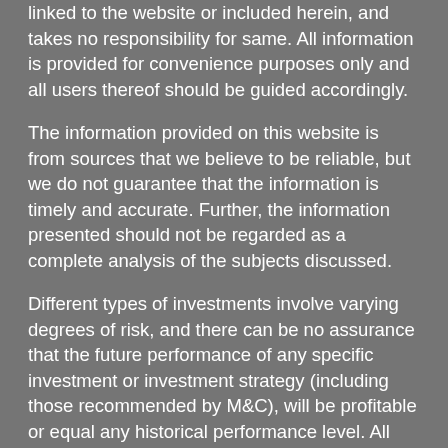linked to the website or included herein, and takes no responsibility for same.  All information is provided for convenience purposes only and all users thereof should be guided accordingly.
The information provided on this website is from sources that we believe to be reliable, but we do not guarantee that the information is timely and accurate. Further, the information presented should not be regarded as a complete analysis of the subjects discussed.
Different types of investments involve varying degrees of risk, and there can be no assurance that the future performance of any specific investment or investment strategy (including those recommended by M&C), will be profitable or equal any historical performance level.  All investment strategies have the potential for profit or loss and past performance is no guarantee of future